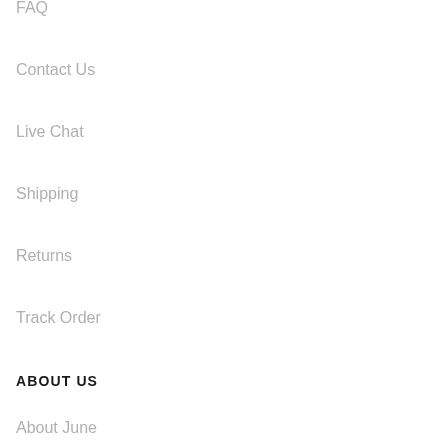FAQ
Contact Us
Live Chat
Shipping
Returns
Track Order
ABOUT US
About June
Investors
Careers
Affiliate Program
Gift Cards